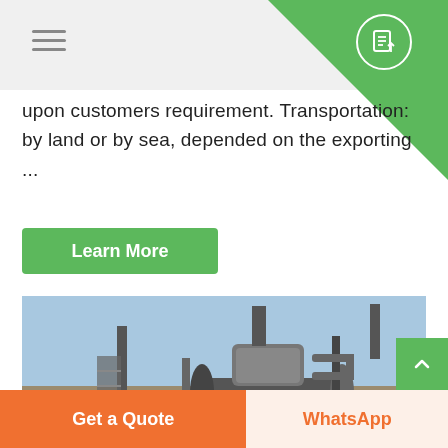Navigation header with hamburger menu and document icon
upon customers requirement. Transportation: by land or by sea, depended on the exporting ...
Learn More
[Figure (photo): Industrial boiler or pressure vessel equipment installed outdoors, with metal piping, staircase, and control box visible against a clear sky background.]
Get a Quote
WhatsApp